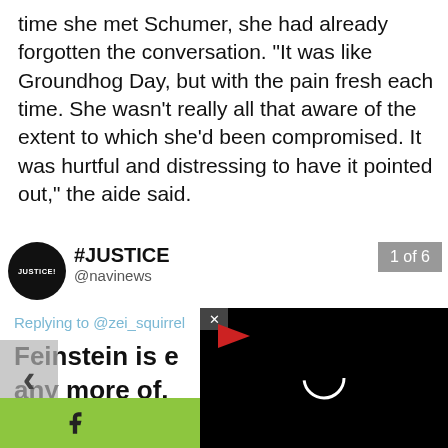time she met Schumer, she had already forgotten the conversation. "It was like Groundhog Day, but with the pain fresh each time. She wasn't really all that aware of the extent to which she'd been compromised. It was hurtful and distressing to have it pointed out," the aide said.
[Figure (screenshot): Screenshot of a tweet from @navinews with hashtag #JUSTICE, replying to @zei_squirrel. The tweet text begins 'Feinstein is e... any more of... they forget'. A '1 of 6' counter badge is shown. A video player overlay (black background) is partially visible on the right side.]
[Figure (screenshot): Social share bar at the bottom with Facebook, Twitter, and WhatsApp icons on a green background.]